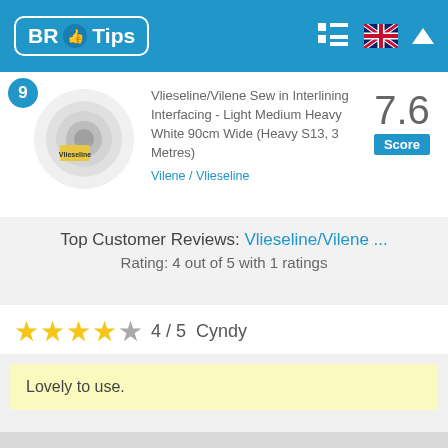BR Tips
9
[Figure (photo): Roll of white Vlieseline/Vilene interlining interfacing fabric]
Vlieseline/Vilene Sew in Interlining Interfacing - Light Medium Heavy White 90cm Wide (Heavy S13, 3 Metres)
7.6 Score
Vilene / Vlieseline
Top Customer Reviews: Vlieseline/Vilene ...
Rating: 4 out of 5 with 1 ratings
★★★★☆ 4 / 5  Cyndy
Lovely to use.